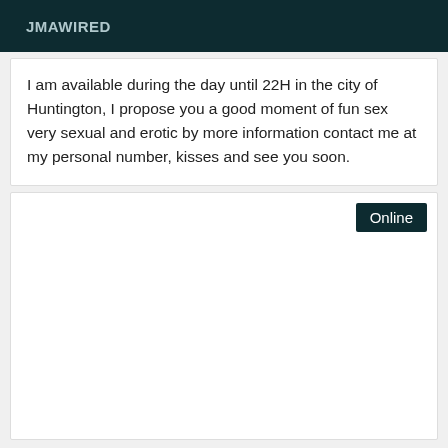JMAWIRED
I am available during the day until 22H in the city of Huntington, I propose you a good moment of fun sex very sexual and erotic by more information contact me at my personal number, kisses and see you soon.
[Figure (other): White image card with an 'Online' badge in the top-right corner]